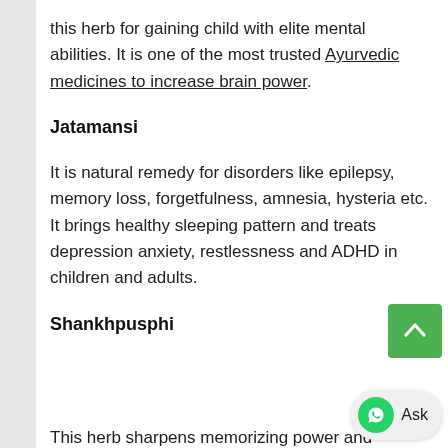this herb for gaining child with elite mental abilities. It is one of the most trusted Ayurvedic medicines to increase brain power.
Jatamansi
It is natural remedy for disorders like epilepsy, memory loss, forgetfulness, amnesia, hysteria etc. It brings healthy sleeping pattern and treats depression anxiety, restlessness and ADHD in children and adults.
Shankhpusphi
This herb sharpens memorizing power and